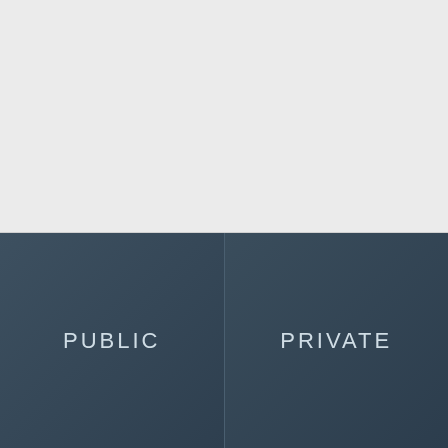[Figure (illustration): Light gray background area occupying the top portion of the page, representing an image placeholder or background section.]
PUBLIC
PRIVATE